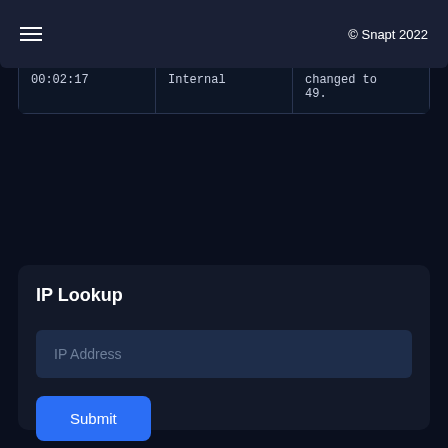≡  © Snapt 2022
| 00:02:17 | Internal | changed to 49. |
IP Lookup
IP Address
Submit